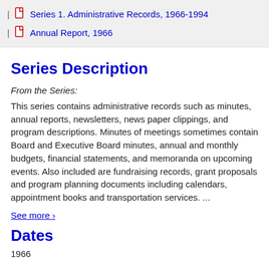Series 1. Administrative Records, 1966-1994
Annual Report, 1966
Series Description
From the Series:
This series contains administrative records such as minutes, annual reports, newsletters, news paper clippings, and program descriptions. Minutes of meetings sometimes contain Board and Executive Board minutes, annual and monthly budgets, financial statements, and memoranda on upcoming events. Also included are fundraising records, grant proposals and program planning documents including calendars, appointment books and transportation services. ...
See more ›
Dates
1966